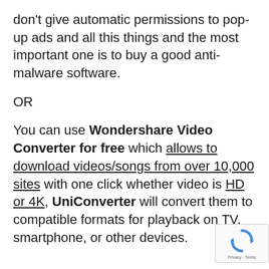don't give automatic permissions to pop-up ads and all this things and the most important one is to buy a good anti-malware software.
OR
You can use Wondershare Video Converter for free which allows to download videos/songs from over 10,000 sites with one click whether video is HD or 4K, UniConverter will convert them to compatible formats for playback on TV, smartphone, or other devices.
[Figure (logo): reCAPTCHA badge with recycling-arrow icon and 'Privacy · Terms' text]